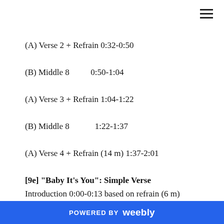(A) Verse 2 + Refrain 0:32-0:50
(B) Middle 8          0:50-1:04
(A) Verse 3 + Refrain 1:04-1:22
(B) Middle 8          1:22-1:37
(A) Verse 4 + Refrain (14 m) 1:37-2:01
[9e] "Baby It's You": Simple Verse
Introduction 0:00-0:13 based on refrain (6 m)